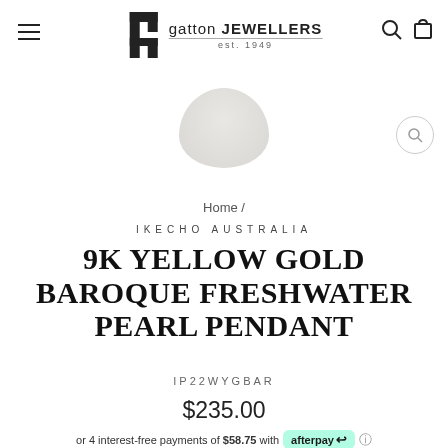gatton JEWELLERS est. 1949
[Figure (photo): Product image area showing a blurred/partial pearl pendant product photo]
Home /
IKECHO AUSTRALIA
9K YELLOW GOLD BAROQUE FRESHWATER PEARL PENDANT
IP22WYGBAR
$235.00
or 4 interest-free payments of $58.75 with afterpay